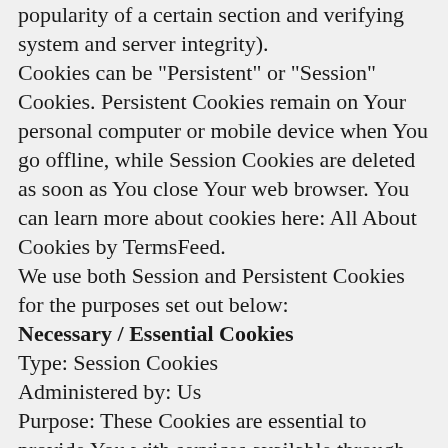popularity of a certain section and verifying system and server integrity). Cookies can be "Persistent" or "Session" Cookies. Persistent Cookies remain on Your personal computer or mobile device when You go offline, while Session Cookies are deleted as soon as You close Your web browser. You can learn more about cookies here: All About Cookies by TermsFeed. We use both Session and Persistent Cookies for the purposes set out below:
Necessary / Essential Cookies
Type: Session Cookies
Administered by: Us
Purpose: These Cookies are essential to provide You with services available through the Website and to enable You to use some of its features. They help to authenticate users and prevent fraudulent use of user accounts. Without these Cookies, the services that You have asked for cannot be provided, and We